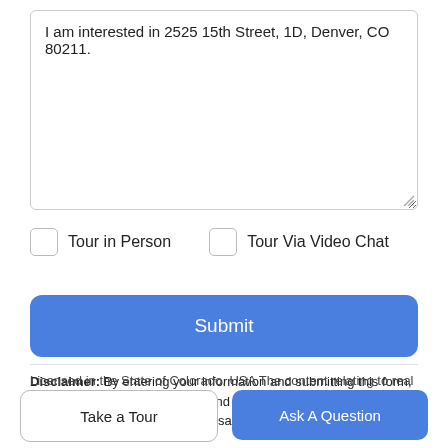I am interested in 2525 15th Street, 1D, Denver, CO 80211.
Tour in Person
Tour Via Video Chat
Submit
Disclaimer: By entering your information and submitting this form, you agree to our Terms of Use and Privacy Policy and that you may be contacted by phone, text message and email about your inquiry.
Licensed in the State of Colorado, USA The content relating to real
Take a Tour
Ask A Question